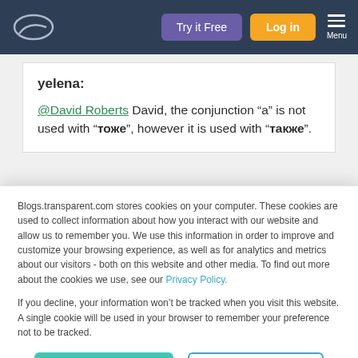Try it Free | Log in | Menu
yelena:
@David Roberts David, the conjunction “a” is not used with “тоже”, however it is used with “также”.
Blogs.transparent.com stores cookies on your computer. These cookies are used to collect information about how you interact with our website and allow us to remember you. We use this information in order to improve and customize your browsing experience, as well as for analytics and metrics about our visitors - both on this website and other media. To find out more about the cookies we use, see our Privacy Policy.
If you decline, your information won’t be tracked when you visit this website. A single cookie will be used in your browser to remember your preference not to be tracked.